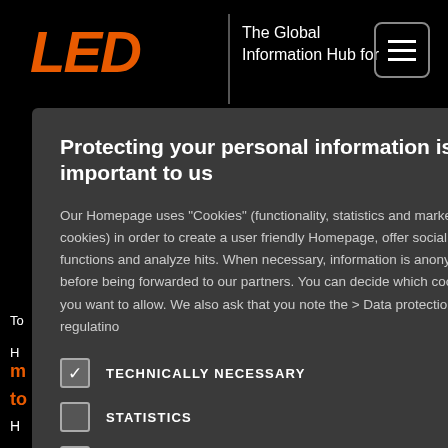[Figure (screenshot): Background of LED professional website with black background, orange LED logo, navigation header text 'The Global Information Hub for', hamburger menu icon, orange link text 'on & Testing', 'ind Optimum', 'c Lighting |', orange radiometer headline fragments, and white article text fragments]
Protecting your personal information is important to us
Our Homepage uses “Cookies” (functionality, statistics and marketing cookies) in order to create a user friendly Homepage, offer social media functions and analyze hits. When necessary, information is anonymized before being forwarded to our partners. You can decide which cookies you want to allow. We also ask that you note the > Data protection regulatino
TECHNICALLY NECESSARY
STATISTICS
MARKETING
FUNCTIONALITY